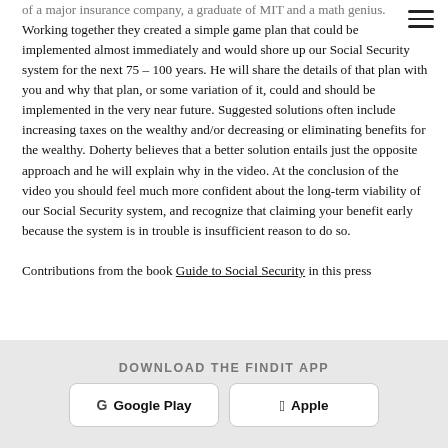of a major insurance company, a graduate of MIT and a math genius. Working together they created a simple game plan that could be implemented almost immediately and would shore up our Social Security system for the next 75 – 100 years. He will share the details of that plan with you and why that plan, or some variation of it, could and should be implemented in the very near future. Suggested solutions often include increasing taxes on the wealthy and/or decreasing or eliminating benefits for the wealthy. Doherty believes that a better solution entails just the opposite approach and he will explain why in the video. At the conclusion of the video you should feel much more confident about the long-term viability of our Social Security system, and recognize that claiming your benefit early because the system is in trouble is insufficient reason to do so.
Contributions from the book Guide to Social Security in this press release are used with permission of copyright Delly Pay...
DOWNLOAD THE FINDIT APP
Google Play
Apple